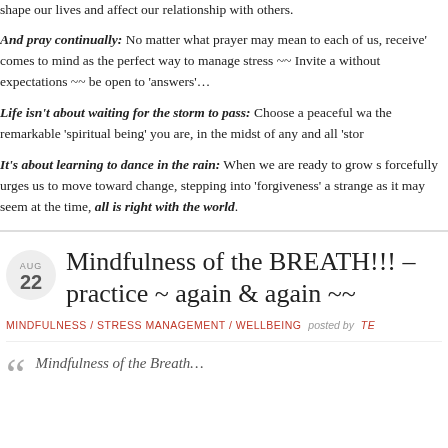shape our lives and affect our relationship with others.
And pray continually: No matter what prayer may mean to each of us, receive' comes to mind as the perfect way to manage stress ~~ Invite a without expectations ~~ be open to 'answers'…
Life isn't about waiting for the storm to pass: Choose a peaceful wa the remarkable 'spiritual being' you are, in the midst of any and all 'stor
It's about learning to dance in the rain: When we are ready to grow s forcefully urges us to move toward change, stepping into 'forgiveness' a strange as it may seem at the time, all is right with the world.
Mindfulness of the BREATH!!! – practice ~ again & again ~~
MINDFULNESS / STRESS MANAGEMENT / WELLBEING  posted by  TE
Mindfulness of the Breath…